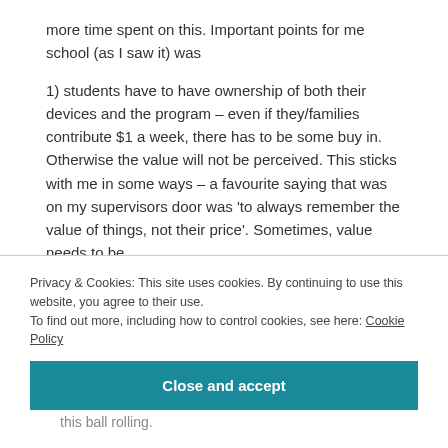more time spent on this. Important points for me school (as I saw it) was
1) students have to have ownership of both their devices and the program – even if they/families contribute $1 a week, there has to be some buy in. Otherwise the value will not be perceived. This sticks with me in some ways – a favourite saying that was on my supervisors door was 'to always remember the value of things, not their price'. Sometimes, value needs to be
Privacy & Cookies: This site uses cookies. By continuing to use this website, you agree to their use.
To find out more, including how to control cookies, see here: Cookie Policy
Close and accept
this ball rolling.